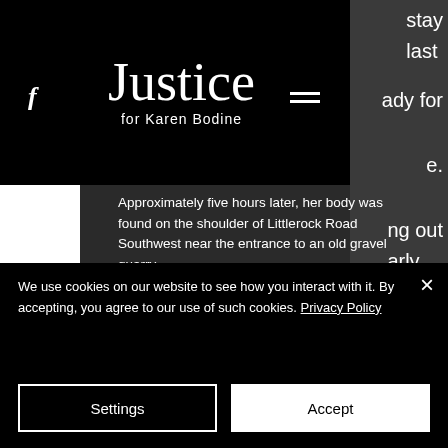[Figure (screenshot): Website navigation bar with Facebook icon, 'Justice for Karen Bodine' script logo, and hamburger menu icon on black background. Partial text visible on right: 'stay', 'last', 'ady for', 'e.', 'ng out', 'arly']
Approximately five hours later, her body was found on the shoulder of Littlerock Road Southwest near the entrance to an old gravel quarry.
Losing Karen was one thing, but learning how she was taken from them was another.
We use cookies on our website to see how you interact with it. By accepting, you agree to our use of such cookies. Privacy Policy
Settings
Accept